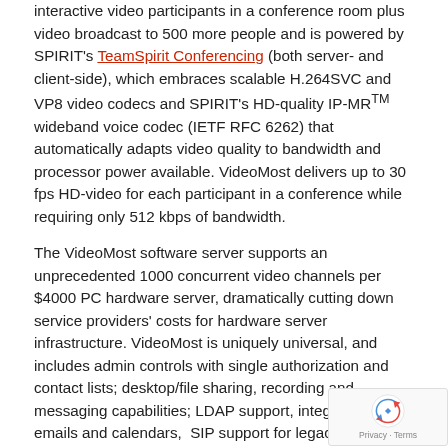interactive video participants in a conference room plus video broadcast to 500 more people and is powered by SPIRIT's TeamSpirit Conferencing (both server- and client-side), which embraces scalable H.264SVC and VP8 video codecs and SPIRIT's HD-quality IP-MR™ wideband voice codec (IETF RFC 6262) that automatically adapts video quality to bandwidth and processor power available. VideoMost delivers up to 30 fps HD-video for each participant in a conference while requiring only 512 kbps of bandwidth.
The VideoMost software server supports an unprecedented 1000 concurrent video channels per $4000 PC hardware server, dramatically cutting down service providers' costs for hardware server infrastructure. VideoMost is uniquely universal, and includes admin controls with single authorization and contact lists; desktop/file sharing, recording and messaging capabilities; LDAP support, integration with emails and calendars,  SIP support for legacy videoconferencing endpoints; presence and more functions.
About SPIRIT DSP
SPIRIT DSP is the world's #1 voice and video over IP (VVoIP) engines provider. SPIRIT's innovative carrier-grade voice and video software platform is used by carriers, OEMs and software